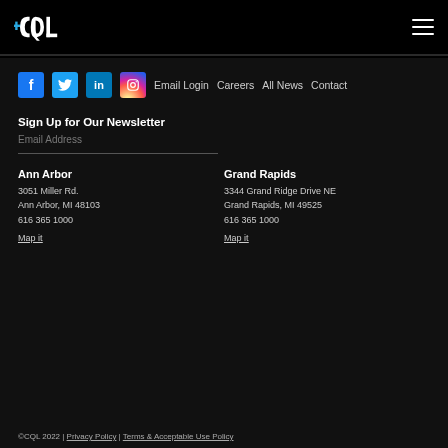CQL logo and hamburger menu
Facebook | Twitter | LinkedIn | Instagram | Email Login | Careers | All News | Contact
Sign Up for Our Newsletter
Email Address
Ann Arbor
3051 Miller Rd.
Ann Arbor, MI 48103
616 365 1000
Map it
Grand Rapids
3344 Grand Ridge Drive NE
Grand Rapids, MI 49525
616 365 1000
Map it
©CQL 2022 | Privacy Policy | Terms & Acceptable Use Policy